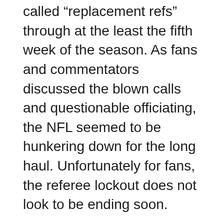season by announcing they would be using so-called “replacement refs” through at the least the fifth week of the season. As fans and commentators discussed the blown calls and questionable officiating, the NFL seemed to be hunkering down for the long haul. Unfortunately for fans, the referee lockout does not look to be ending soon.
Why are the refs locked out? What is it all about? The owners would have us believe that the National Football League Referee Association is too greedy. Nothing could be further from the truth. NFL refs are the only major sports officials in North America who work part time. The 119 refs all have